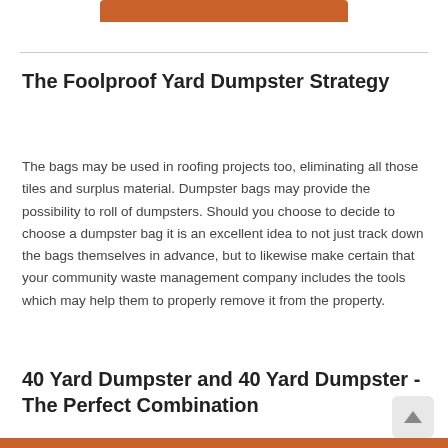[Figure (other): Orange/brown rounded rectangle bar at the top of the page, partially visible]
The Foolproof Yard Dumpster Strategy
The bags may be used in roofing projects too, eliminating all those tiles and surplus material. Dumpster bags may provide the possibility to roll of dumpsters. Should you choose to decide to choose a dumpster bag it is an excellent idea to not just track down the bags themselves in advance, but to likewise make certain that your community waste management company includes the tools which may help them to properly remove it from the property.
40 Yard Dumpster and 40 Yard Dumpster - The Perfect Combination